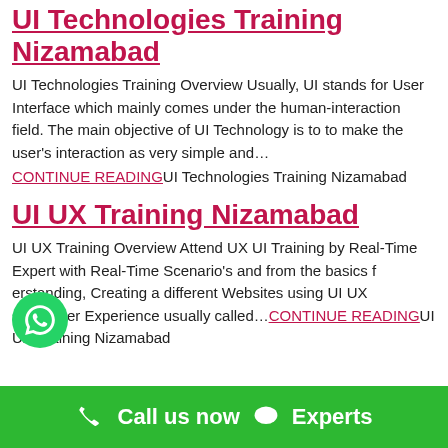UI Technologies Training Nizamabad
UI Technologies Training Overview Usually, UI stands for User Interface which mainly comes under the human-interaction field. The main objective of UI Technology is to to make the user’s interaction as very simple and…
CONTINUE READINGUI Technologies Training Nizamabad
UI UX Training Nizamabad
UI UX Training Overview Attend UX UI Training by Real-Time Expert with Real-Time Scenario’s and from the basics f…erstanding, Creating a different Websites using UI UX skills.User Experience usually called…CONTINUE READINGUI UX Training Nizamabad
Call us now  Experts